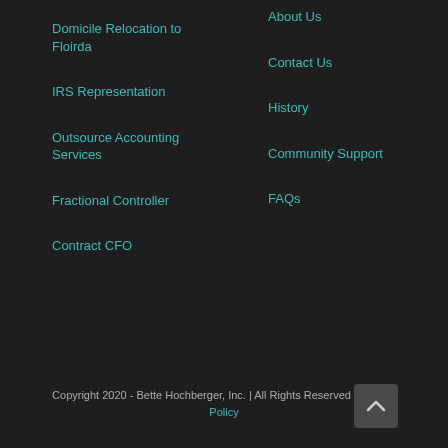Domicile Relocation to Floirda
IRS Representation
Outsource Accounting Services
Fractional Controller
Contract CFO
About Us
Contact Us
History
Community Support
FAQs
Copyright 2020 - Bette Hochberger, Inc. | All Rights Reserved | Privacy Policy